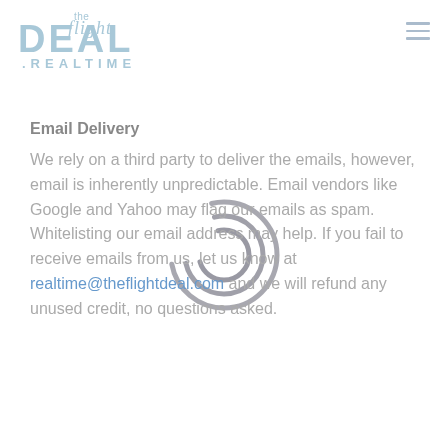the flight DEAL .REALTIME
Email Delivery
We rely on a third party to deliver the emails, however, email is inherently unpredictable. Email vendors like Google and Yahoo may flag our emails as spam. Whitelisting our email address may help. If you fail to receive emails from us, let us know at realtime@theflightdeal.com and we will refund any unused credit, no questions asked.